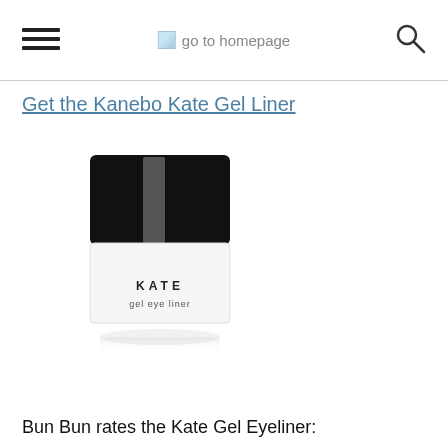go to homepage
Get the Kanebo Kate Gel Liner
[Figure (photo): KATE gel eye liner product jar with black lid on white background]
Bun Bun rates the Kate Gel Eyeliner: